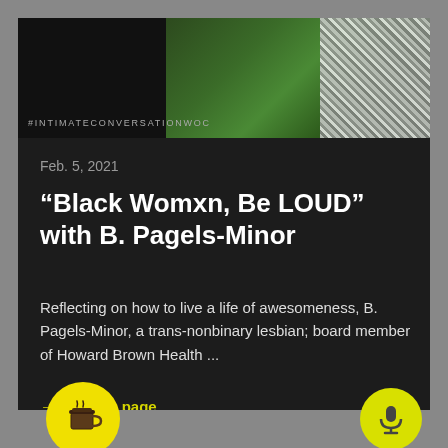[Figure (photo): Top banner image strip with dark background, green plant photo in center, and patterned fabric/clothing on right side. Hashtag #INTIMATECONVERSATIONWOC visible at lower left.]
#INTIMATECONVERSATIONWOC
Feb. 5, 2021
“Black Womxn, Be LOUD” with B. Pagels-Minor
Reflecting on how to live a life of awesomeness, B. Pagels-Minor, a trans-nonbinary lesbian; board member of Howard Brown Health ...
→ Episode page
[Figure (illustration): Yellow circular button with coffee cup icon (buy me a coffee style)]
[Figure (illustration): Yellow-green circular button with microphone icon]